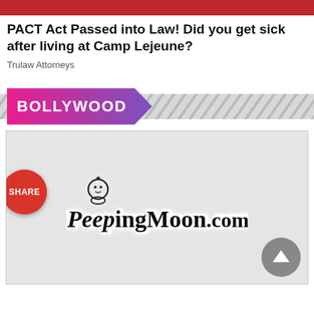[Figure (other): Red advertisement banner bar at top]
PACT Act Passed into Law! Did you get sick after living at Camp Lejeune?
Trulaw Attorneys
BOLLYWOOD
[Figure (other): Main content image area (gray placeholder) with PeepingMoon.com watermark logo in center, red SHARE circular button on left, gray scroll-up arrow button at bottom right]